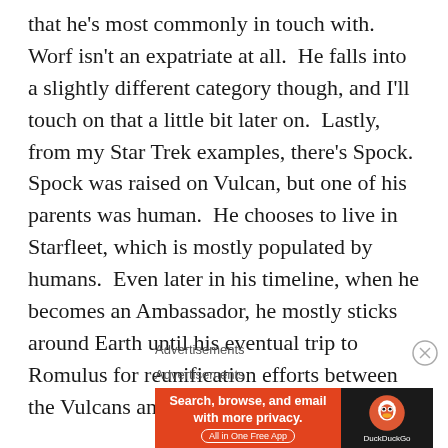that he's most commonly in touch with.  Worf isn't an expatriate at all.  He falls into a slightly different category though, and I'll touch on that a little bit later on.  Lastly, from my Star Trek examples, there's Spock.  Spock was raised on Vulcan, but one of his parents was human.  He chooses to live in Starfleet, which is mostly populated by humans.  Even later in his timeline, when he becomes an Ambassador, he mostly sticks around Earth until his eventual trip to Romulus for reunification efforts between the Vulcans and Romulans.
Advertisements
Advertisements
[Figure (other): DuckDuckGo advertisement banner: orange left panel with text 'Search, browse, and email with more privacy. All in One Free App' and dark right panel with DuckDuckGo duck logo and text 'DuckDuckGo']